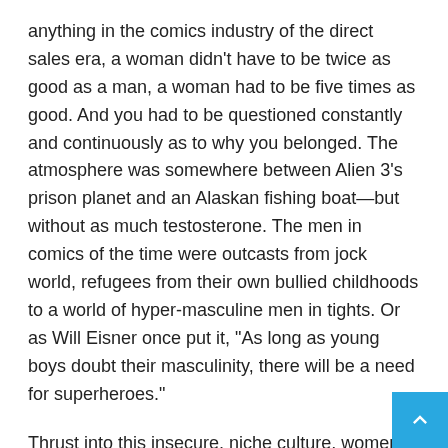anything in the comics industry of the direct sales era, a woman didn't have to be twice as good as a man, a woman had to be five times as good. And you had to be questioned constantly and continuously as to why you belonged. The atmosphere was somewhere between Alien 3's prison planet and an Alaskan fishing boat—but without as much testosterone. The men in comics of the time were outcasts from jock world, refugees from their own bullied childhoods to a world of hyper-masculine men in tights. Or as Will Eisner once put it, “As long as young boys doubt their masculinity, there will be a need for superheroes.”
Thrust into this insecure, niche culture, women who wanted to make comics were assailed not only by relentless questioning of their talent — the likes of which would reduce anyone to a neurotic mess — but endless sexual attention. Some of it was harmless, or flattering—most of the women in comics of the